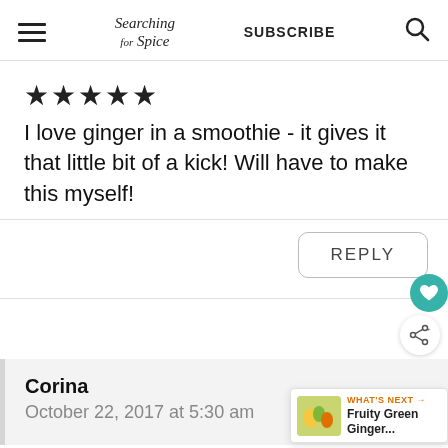Searching for Spice | SUBSCRIBE
★★★★★
I love ginger in a smoothie - it gives it that little bit of a kick! Will have to make this myself!
REPLY
Corina
October 22, 2017 at 5:30 am